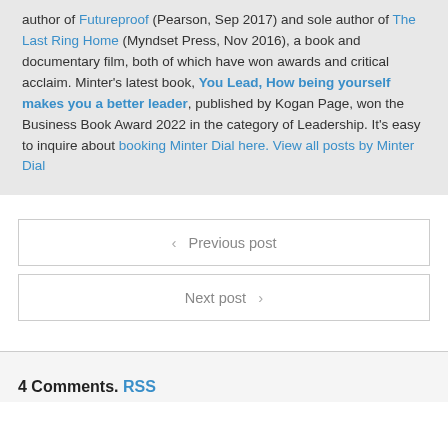author of Futureproof (Pearson, Sep 2017) and sole author of The Last Ring Home (Myndset Press, Nov 2016), a book and documentary film, both of which have won awards and critical acclaim. Minter's latest book, You Lead, How being yourself makes you a better leader, published by Kogan Page, won the Business Book Award 2022 in the category of Leadership. It's easy to inquire about booking Minter Dial here. View all posts by Minter Dial
Previous post
Next post
4 Comments. RSS